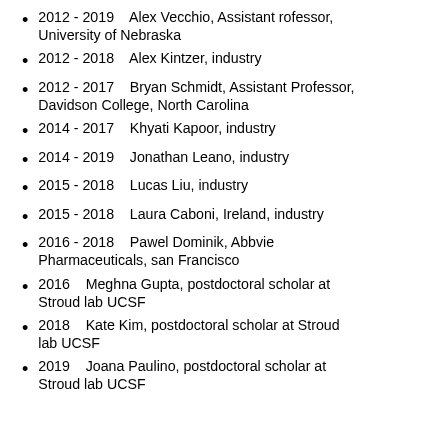2012 - 2019    Alex Vecchio, Assistant rofessor, University of Nebraska
2012 - 2018    Alex Kintzer, industry
2012 - 2017    Bryan Schmidt, Assistant Professor, Davidson College, North Carolina
2014 - 2017    Khyati Kapoor, industry
2014 - 2019    Jonathan Leano, industry
2015 - 2018    Lucas Liu, industry
2015 - 2018    Laura Caboni, Ireland, industry
2016 - 2018    Pawel Dominik, Abbvie Pharmaceuticals, san Francisco
2016    Meghna Gupta, postdoctoral scholar at Stroud lab UCSF
2018    Kate Kim, postdoctoral scholar at Stroud lab UCSF
2019    Joana Paulino, postdoctoral scholar at Stroud lab UCSF